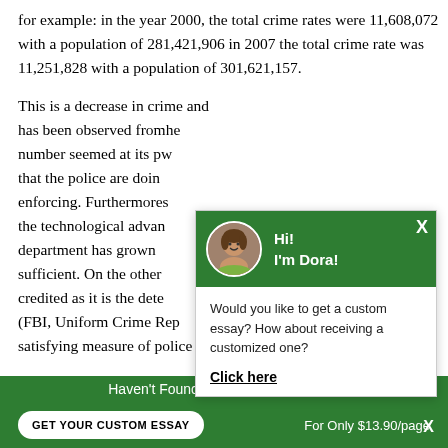for example: in the year 2000, the total crime rates were 11,608,072 with a population of 281,421,906 in 2007 the total crime rate was 11,251,828 with a population of 301,621,157.
This is a decrease in cr... has been observed from... number seemed at its p... that the police are doin... enforcing. Furthermore... the technological advan... department has grown... sufficient. On the other... credited as it is the dete... (FBI, Uniform Crime Re... satisfying measure of police efficiency though.
[Figure (other): Chat popup with photo of woman named Dora, offering custom essay writing service. Contains text 'Hi! I'm Dora!', 'Would you like to get a custom essay? How about receiving a customized one?', and a 'Click here' link.]
Haven't Found The Essay You Want? GET YOUR CUSTOM ESSAY For Only $13.90/page